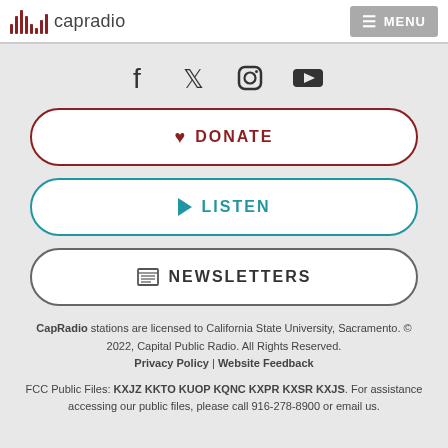capradio | MENU
[Figure (other): Social media icons row: Facebook, Twitter, Instagram, YouTube]
DONATE
LISTEN
NEWSLETTERS
CapRadio stations are licensed to California State University, Sacramento. © 2022, Capital Public Radio. All Rights Reserved. Privacy Policy | Website Feedback
FCC Public Files: KXJZ KKTO KUOP KQNC KXPR KXSR KXJS. For assistance accessing our public files, please call 916-278-8900 or email us.